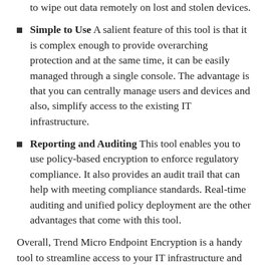to wipe out data remotely on lost and stolen devices.
Simple to Use A salient feature of this tool is that it is complex enough to provide overarching protection and at the same time, it can be easily managed through a single console. The advantage is that you can centrally manage users and devices and also, simplify access to the existing IT infrastructure.
Reporting and Auditing This tool enables you to use policy-based encryption to enforce regulatory compliance. It also provides an audit trail that can help with meeting compliance standards. Real-time auditing and unified policy deployment are the other advantages that come with this tool.
Overall, Trend Micro Endpoint Encryption is a handy tool to streamline access to your IT infrastructure and meet mandatory compliance requirements.